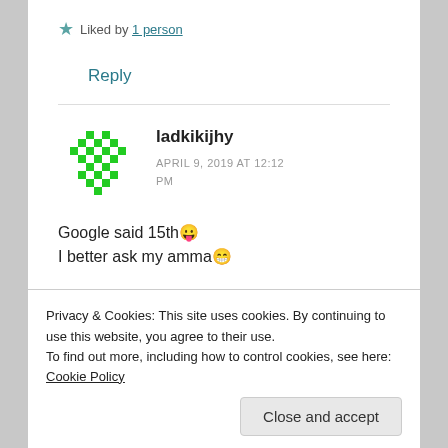★ Liked by 1 person
Reply
[Figure (other): Green pixel/identicon avatar for user ladkikijhy]
ladkikijhy
APRIL 9, 2019 AT 12:12 PM
Google said 15th 😜
I better ask my amma 😄
Privacy & Cookies: This site uses cookies. By continuing to use this website, you agree to their use.
To find out more, including how to control cookies, see here: Cookie Policy
Close and accept